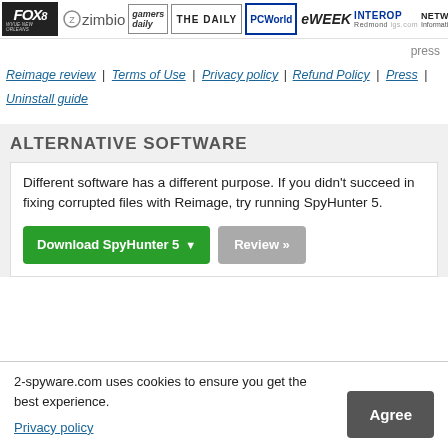[Figure (logo): Row of media/press logos: Fox 8, Zimbio, Gamers Daily, The Daily, PCWorld, eWEEK, INTEROP/Redmond, NetworkWorld/InformationWeek, DE]
press
Reimage review | Terms of Use | Privacy policy | Refund Policy | Press | Uninstall guide
ALTERNATIVE SOFTWARE
Different software has a different purpose. If you didn't succeed in fixing corrupted files with Reimage, try running SpyHunter 5.
Download SpyHunter 5 ▼   Review »
2-spyware.com uses cookies to ensure you get the best experience.
Privacy policy
Agree